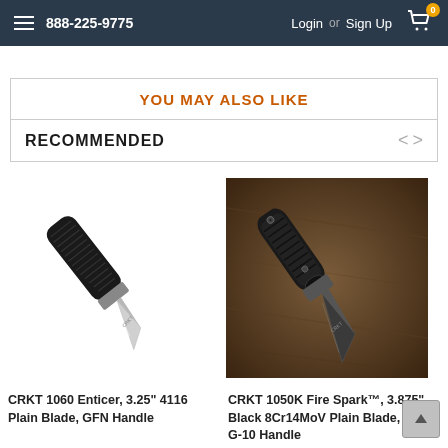888-225-9775   Login or Sign Up   [Cart: 0]
YOU MAY ALSO LIKE
RECOMMENDED
[Figure (photo): CRKT folding knife with black GFN handle and silver blade on white background]
[Figure (photo): CRKT 1050K Fire Spark folding knife with black blade and G-10 handle on brown textured background]
CRKT 1060 Enticer, 3.25" 4116 Plain Blade, GFN Handle
CRKT 1050K Fire Spark™, 3.875" Black 8Cr14MoV Plain Blade, Black G-10 Handle